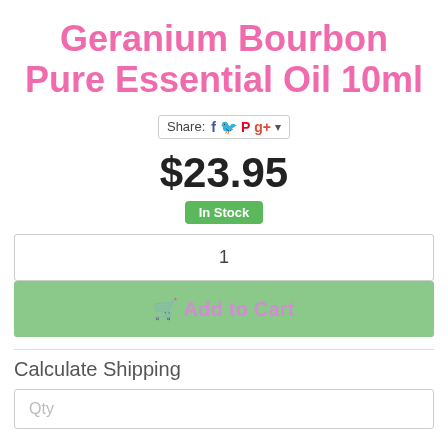Geranium Bourbon Pure Essential Oil 10ml
Share: [Facebook] [Twitter] [Pinterest] [Google+] ▾
$23.95
In Stock
1
🛒 Add to Cart
Calculate Shipping
Qty